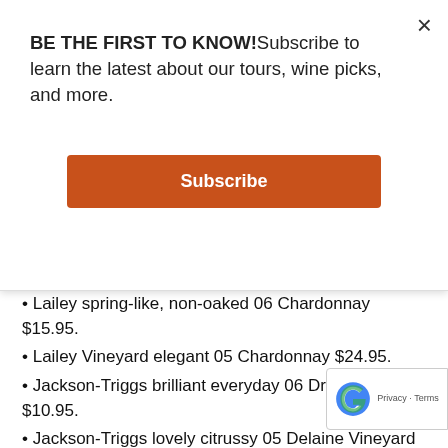BE THE FIRST TO KNOW!Subscribe to learn the latest about our tours, wine picks, and more.
Subscribe
Pinot Noir $24.95.
Lailey spring-like, non-oaked 06 Chardonnay $15.95.
Lailey Vineyard elegant 05 Chardonnay $24.95.
Jackson-Triggs brilliant everyday 06 Dry Riesling $10.95.
Jackson-Triggs lovely citrussy 05 Delaine Vineyard Riesling $19.95.
Jackson-Triggs earthy, mysterious 05 Syrah $29.95.
Stratus intense 06 Riesling 06 $35.00.
Stratus nothing-like-it 04 White $38.
Hillebrand fun Artist Label 06 Muscat.
Trius semi-exotic 06 White $18.95.